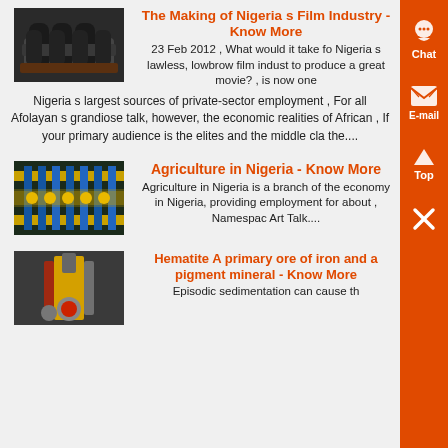[Figure (photo): Industrial machinery - engine block or similar heavy mechanical equipment, dark colored]
The Making of Nigeria s Film Industry - Know More
23 Feb 2012 , What would it take for Nigeria s lawless, lowbrow film industry to produce a great movie? , is now one Nigeria s largest sources of private-sector employment , For all Afolayan s grandiose talk, however, the economic realities of African , If your primary audience is the elites and the middle class the....
[Figure (photo): Industrial manufacturing facility with blue machinery and yellow rails]
Agriculture in Nigeria - Know More
Agriculture in Nigeria is a branch of the economy in Nigeria, providing employment for about , Namespac Art Talk....
[Figure (photo): Industrial drilling or mining equipment with red and yellow components]
Hematite A primary ore of iron and a pigment mineral - Know More
Episodic sedimentation can cause th